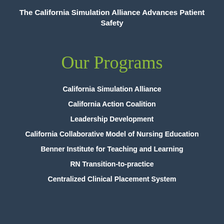The California Simulation Alliance Advances Patient Safety
Our Programs
California Simulation Alliance
California Action Coalition
Leadership Development
California Collaborative Model of Nursing Education
Benner Institute for Teaching and Learning
RN Transition-to-practice
Centralized Clinical Placement System